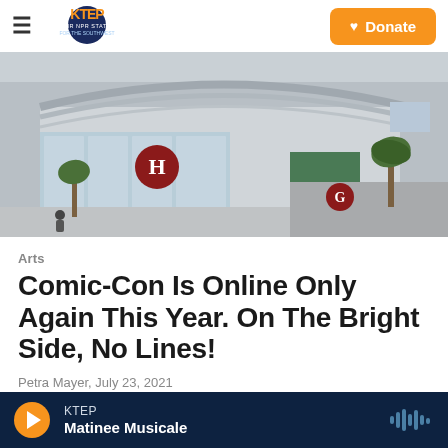KTEP — Your NPR Station for the Southwest | Donate
[Figure (photo): Empty exterior of San Diego Convention Center with hall H and G signs, palm trees, and overcast sky]
Arts
Comic-Con Is Online Only Again This Year. On The Bright Side, No Lines!
Petra Mayer, July 23, 2021
KTEP — Matinee Musicale